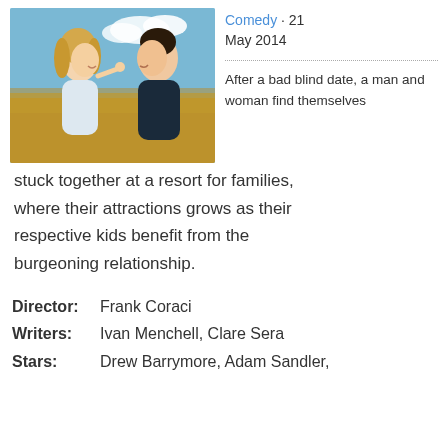[Figure (photo): Movie poster showing a man and woman facing each other in a field, with a blue sky background]
Comedy · 21 May 2014
After a bad blind date, a man and woman find themselves stuck together at a resort for families, where their attractions grows as their respective kids benefit from the burgeoning relationship.
Director:   Frank Coraci
Writers:   Ivan Menchell, Clare Sera
Stars:   Drew Barrymore, Adam Sandler,